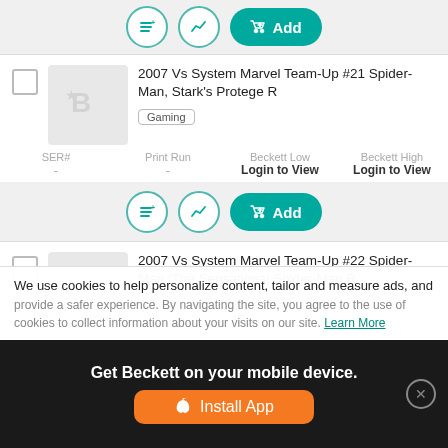[Figure (screenshot): Top action bar with list, chart, and teal Add button (partially visible at top)]
2007 Vs System Marvel Team-Up #21 Spider-Man, Stark's Protege R
Gaming
| SER# | Print Run | Beckett Low | Beckett High |
| --- | --- | --- | --- |
| - | - | Login to View | Login to View |
[Figure (screenshot): Action bar with list icon, chart icon, and teal Add button]
2007 Vs System Marvel Team-Up #22 Spider-Man,/The Sensational Spider-Man R
Gaming
| SER# | Print Run | Beckett Low | Beckett High |
| --- | --- | --- | --- |
| - | - | Login to View | Login to View |
[Figure (screenshot): Partial action bar with icons at bottom]
We use cookies to help personalize content, tailor and measure ads, and provide a safer experience. By navigating the site, you agree to the use of cookies to collect information about your visits on our site.
Get Beckett on your mobile device.
Install App